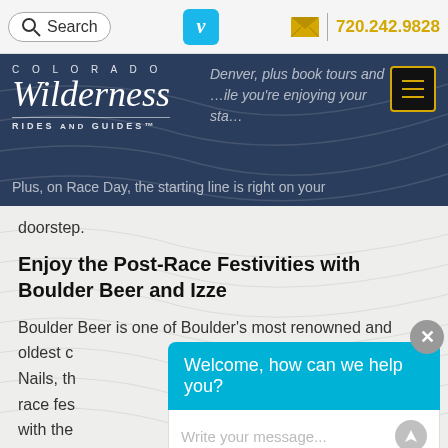Search | [Vimeo] | [envelope] | 720.242.9828
[Figure (logo): Colorado Wilderness Rides and Guides logo on dark blue header band with partial overlay text about Denver tours]
Plus, on Race Day, the starting line is right on your doorstep.
Enjoy the Post-Race Festivities with Boulder Beer and Izze
Boulder Beer is one of Boulder’s most renowned and oldest c… Nails, th… race fes… with the…
[Figure (screenshot): Chat widget overlay with cyan header saying 'Welcome, how can we help you?' and input field 'Write your message...' with send button and close X button]
IPA to the citrusy sweet Hazed and Infused, they have a